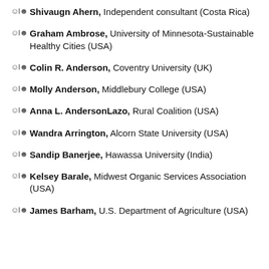Shivaugn Ahern, Independent consultant (Costa Rica)
Graham Ambrose, University of Minnesota-Sustainable Healthy Cities (USA)
Colin R. Anderson, Coventry University (UK)
Molly Anderson, Middlebury College (USA)
Anna L. AndersonLazo, Rural Coalition (USA)
Wandra Arrington, Alcorn State University (USA)
Sandip Banerjee, Hawassa University (India)
Kelsey Barale, Midwest Organic Services Association (USA)
James Barham, U.S. Department of Agriculture (USA)